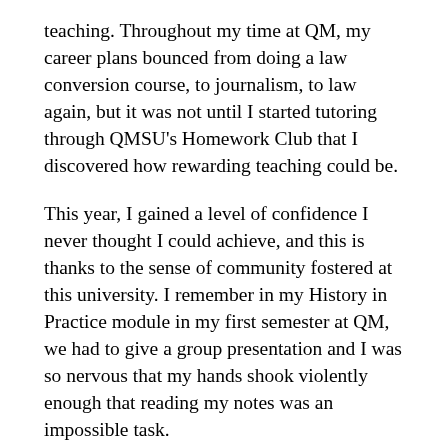teaching. Throughout my time at QM, my career plans bounced from doing a law conversion course, to journalism, to law again, but it was not until I started tutoring through QMSU's Homework Club that I discovered how rewarding teaching could be.
This year, I gained a level of confidence I never thought I could achieve, and this is thanks to the sense of community fostered at this university. I remember in my History in Practice module in my first semester at QM, we had to give a group presentation and I was so nervous that my hands shook violently enough that reading my notes was an impossible task.
A few weeks ago, I gave a presentation for my dissertation module at a different university in front of a class of near strangers. Not only was I not nervous, but I confidently presented without so much as a shake. This would have not been possible without my